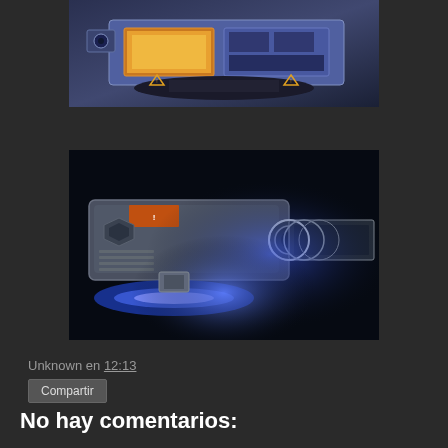[Figure (photo): Partial view of a sci-fi vehicle or machine — cross-section render showing orange/yellow compartments and blue mechanical housing on a dark background]
[Figure (photo): Close-up of a sci-fi weapon or engine component — detailed gray and silver mechanical parts with glowing blue exhaust/beam and orange warning label, on dark background]
Unknown en 12:13
Compartir
No hay comentarios: